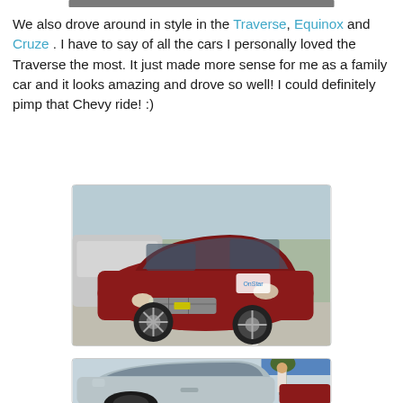[Figure (photo): Partial top of an image, cropped at page top]
We also drove around in style in the Traverse, Equinox and Cruze . I have to say of all the cars I personally loved the Traverse the most. It just made more sense for me as a family car and it looks amazing and drove so well! I could definitely pimp that Chevy ride! :)
[Figure (photo): Photo of a dark red Chevrolet Traverse SUV parked in a parking lot, front three-quarter view]
[Figure (photo): Photo of a silver/grey Chevrolet car parked, partially visible with a person standing nearby]